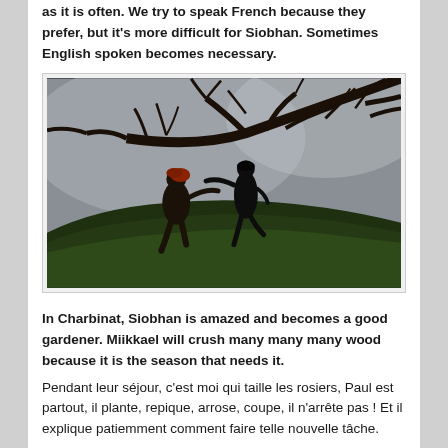as it is often. We try to speak French because they prefer, but it's more difficult for Siobhan. Sometimes English spoken becomes necessary.
[Figure (photo): Two people (silhouettes) running up a grassy hill under a cloudy sky with bare tree branches overhead. Outdoors, overcast day.]
In Charbinat, Siobhan is amazed and becomes a good gardener. Miikkael will crush many many many wood because it is the season that needs it.
Pendant leur séjour, c'est moi qui taille les rosiers, Paul est partout, il plante, repique, arrose, coupe, il n'arrête pas ! Et il explique patiemment comment faire telle nouvelle tâche.